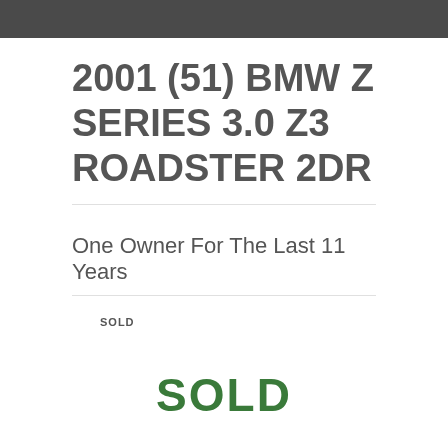[Figure (photo): Dark gray/charcoal horizontal bar at the top of the page, representing a cropped image of a car.]
2001 (51) BMW Z SERIES 3.0 Z3 ROADSTER 2DR
One Owner For The Last 11 Years
SOLD
SOLD